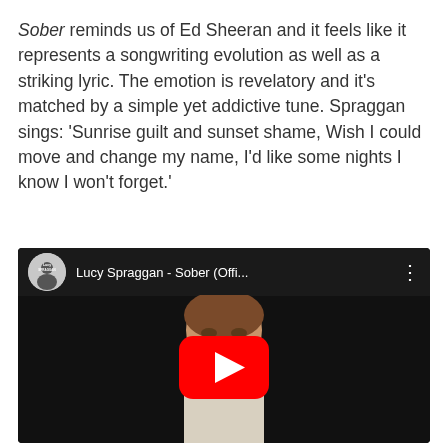Sober reminds us of Ed Sheeran and it feels like it represents a songwriting evolution as well as a striking lyric. The emotion is revelatory and it's matched by a simple yet addictive tune. Spraggan sings: ‘Sunrise guilt and sunset shame, Wish I could move and change my name, I’d like some nights I know I won’t forget.’
[Figure (screenshot): YouTube video embed showing Lucy Spraggan - Sober (Offi...) with play button, channel icon with 'Lucy SPRAGGAN' text, and a woman visible in the thumbnail.]